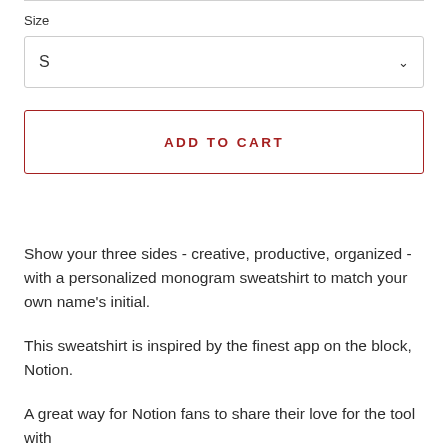Size
[Figure (screenshot): A dropdown selector showing 'S' with a chevron arrow, bordered box for size selection]
[Figure (screenshot): ADD TO CART button with red border and red uppercase text]
Show your three sides - creative, productive, organized - with a personalized monogram sweatshirt to match your own name's initial.
This sweatshirt is inspired by the finest app on the block, Notion.
A great way for Notion fans to share their love for the tool with